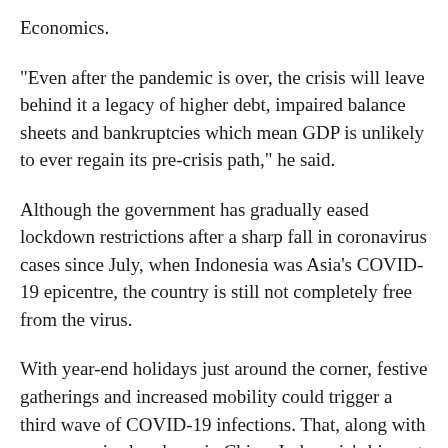Economics.
"Even after the pandemic is over, the crisis will leave behind it a legacy of higher debt, impaired balance sheets and bankruptcies which mean GDP is unlikely to ever regain its pre-crisis path," he said.
Although the government has gradually eased lockdown restrictions after a sharp fall in coronavirus cases since July, when Indonesia was Asia's COVID-19 epicentre, the country is still not completely free from the virus.
With year-end holidays just around the corner, festive gatherings and increased mobility could trigger a third wave of COVID-19 infections. That, along with an economic slowdown in China, Indonesia's biggest trade